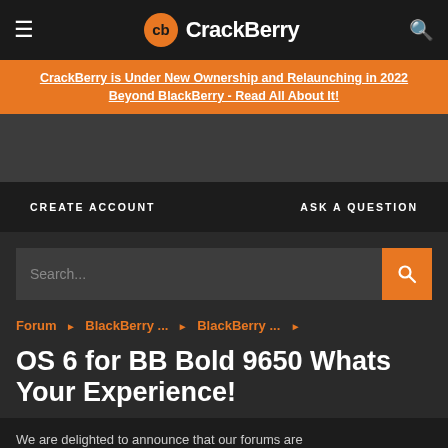CrackBerry
CrackBerry is Under New Ownership and Relaunching in 2022 Beyond BlackBerry - Read All About It!
CREATE ACCOUNT    ASK A QUESTION
Search...
Forum ▸ BlackBerry ... ▸ BlackBerry ... ▸
OS 6 for BB Bold 9650 Whats Your Experience!
We are delighted to announce that our forums are now an ad-free experience for all registered and